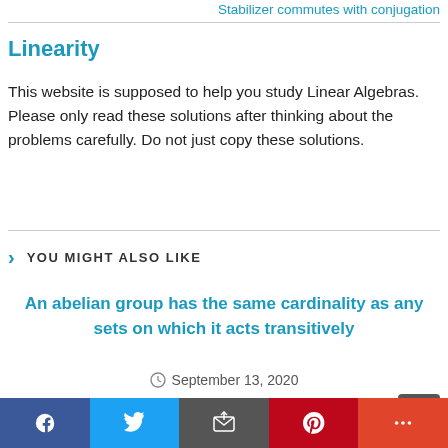Stabilizer commutes with conjugation
Linearity
This website is supposed to help you study Linear Algebras. Please only read these solutions after thinking about the problems carefully. Do not just copy these solutions.
YOU MIGHT ALSO LIKE
An abelian group has the same cardinality as any sets on which it acts transitively
September 13, 2020